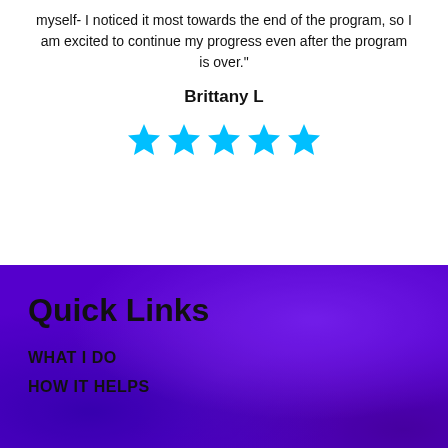myself- I noticed it most towards the end of the program, so I am excited to continue my progress even after the program is over."
Brittany L
[Figure (illustration): Five cyan/blue star rating icons in a row]
[Figure (photo): Purple textured background section for footer]
Quick Links
WHAT I DO
HOW IT HELPS